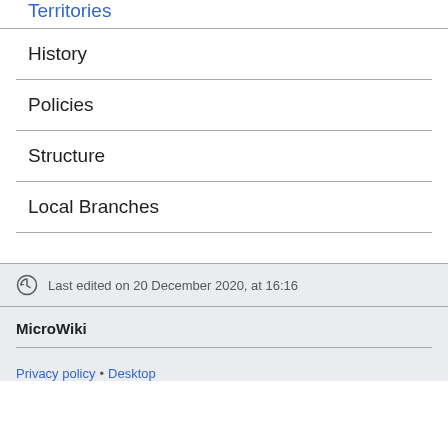Territories
History
Policies
Structure
Local Branches
Last edited on 20 December 2020, at 16:16
MicroWiki
Privacy policy • Desktop